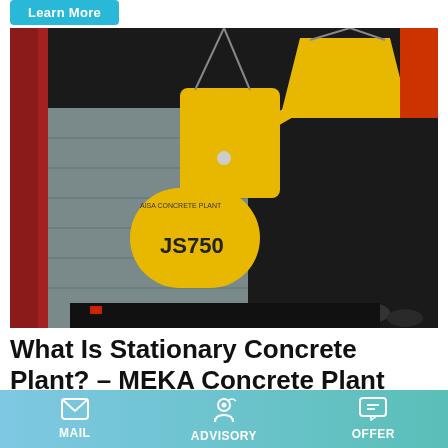Learn More
[Figure (photo): Yellow JS750 concrete mixer being lifted by crane into a shipping container at night, with workers observing.]
What Is Stationary Concrete Plant? – MEKA Concrete Plant
Cement Silo (unit where cement is stored) 5- Easy and Fast
MAIL   ADVISORY   OFFER